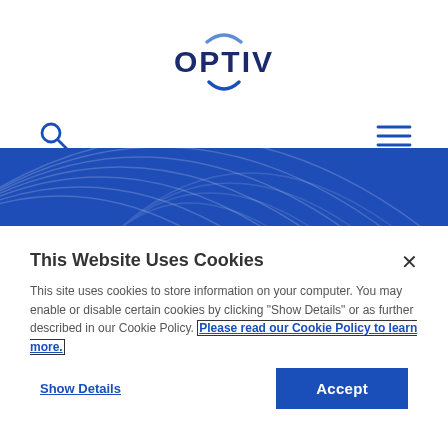[Figure (logo): Optiv logo: stylized person icon above 'OPTIV' text in dark blue, with arc elements above and below]
[Figure (infographic): Navigation bar with magnifying glass search icon on the left and hamburger menu icon on the right]
[Figure (illustration): Blue decorative banner with concentric arc pattern in varying shades of blue]
This Website Uses Cookies
This site uses cookies to store information on your computer. You may enable or disable certain cookies by clicking "Show Details" or as further described in our Cookie Policy. Please read our Cookie Policy to learn more.
Show Details
Accept